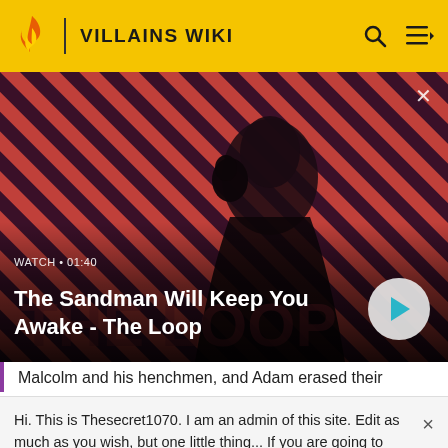VILLAINS WIKI
[Figure (screenshot): Video thumbnail showing a dark figure with a raven on shoulder, red and dark diagonal stripe background, with play button overlay. Text overlay: WATCH • 01:40 / The Sandman Will Keep You Awake - The Loop]
WATCH • 01:40
The Sandman Will Keep You Awake - The Loop
Malcolm and his henchmen, and Adam erased their
Hi. This is Thesecret1070. I am an admin of this site. Edit as much as you wish, but one little thing... If you are going to edit a lot, then make yourself a user and login. Other than that, enjoy Villains Wiki!!!